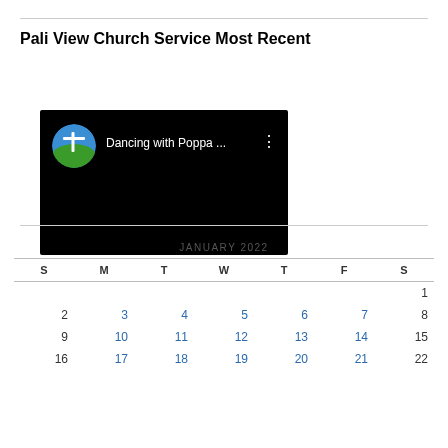Pali View Church Service Most Recent
[Figure (screenshot): YouTube video thumbnail showing a church logo (white cross on green hill with blue sky circle icon) with title 'Dancing with Poppa ...' and three-dots menu icon on black background]
| S | M | T | W | T | F | S |
| --- | --- | --- | --- | --- | --- | --- |
|  |  |  |  |  |  | 1 |
| 2 | 3 | 4 | 5 | 6 | 7 | 8 |
| 9 | 10 | 11 | 12 | 13 | 14 | 15 |
| 16 | 17 | 18 | 19 | 20 | 21 | 22 |